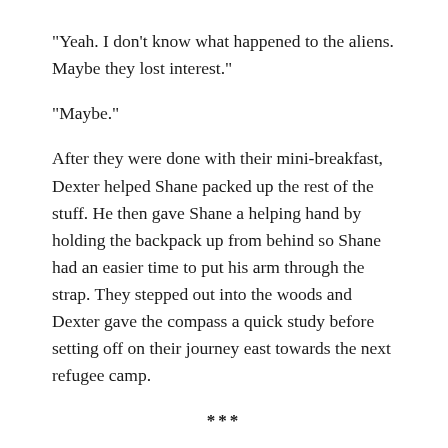“Yeah. I don’t know what happened to the aliens. Maybe they lost interest.”
“Maybe.”
After they were done with their mini-breakfast, Dexter helped Shane packed up the rest of the stuff. He then gave Shane a helping hand by holding the backpack up from behind so Shane had an easier time to put his arm through the strap. They stepped out into the woods and Dexter gave the compass a quick study before setting off on their journey east towards the next refugee camp.
***
Unbeknownst to Dexter and Shane, the reptilian aliens did manage to cross the stream but didn’t make it